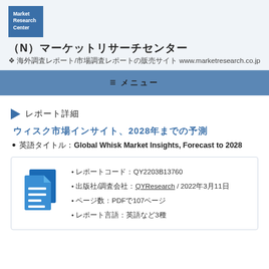[Figure (logo): Market Research Center logo - blue square with white text]
（N）マーケットリサーチセンター
❖ 海外調査レポート/市場調査レポートの販売サイト www.marketresearch.co.jp
≡ メニュー
レポート詳細
ウィスク市場インサイト、2028年までの予測
英語タイトル：Global Whisk Market Insights, Forecast to 2028
| レポートコード：QY2203B13760 |
| 出版社/調査会社：QYResearch / 2022年3月11日 |
| ページ数：PDFで107ページ |
| レポート言語：英語など3種 |